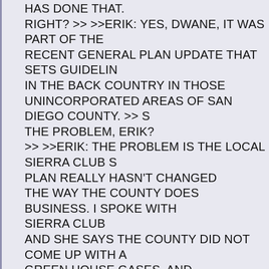HAS DONE THAT. RIGHT? >> >>ERIK: YES, DWANE, IT WAS PART OF THE RECENT GENERAL PLAN UPDATE THAT SETS GUIDELIN IN THE BACK COUNTRY IN THOSE UNINCORPORATED AREAS OF SAN DIEGO COUNTY. >> S THE PROBLEM, ERIK? >> >>ERIK: THE PROBLEM IS THE LOCAL SIERRA CLUB S PLAN REALLY HASN'T CHANGED THE WAY THE COUNTY DOES BUSINESS. I SPOKE WITH SIERRA CLUB AND SHE SAYS THE COUNTY DID NOT COME UP WITH A GREEN HOUSE GASES, AND ARGUE THE COUNTY ESTABLISH AD STANDARD THAT W GREEN HOUSE GASES NOT LESS. AND HE SAYS THE MOST OBVIOUS WAY TO LOWER EMI THE NEED FOR CARS AND THAT IS NOT IN THE COUNTY'S PLAN. HE'S HOPING THE ENCOURAGE A CHANGE IN THE PLAN. >> >>DWANE: A PLEASANT SURPRISE FOR CROSSING THE WORLD'S BUSIEST BORDER IN SAN YSI A BIG DROP IN WAIT TIMES COMING NORTH IN N TO SA